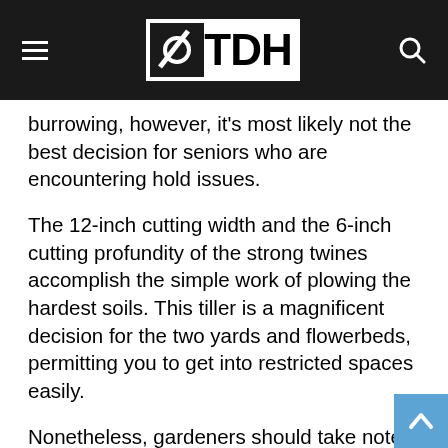TDH
burrowing, however, it's most likely not the best decision for seniors who are encountering hold issues.
The 12-inch cutting width and the 6-inch cutting profundity of the strong twines accomplish the simple work of plowing the hardest soils. This tiller is a magnificent decision for the two yards and flowerbeds, permitting you to get into restricted spaces easily.
Nonetheless, gardeners should take note that this device isn't ideal for circulating air through huge yards. It could take you a whole day to work your garden utilizing just this device. The recommended utilization of this manual tiller is for separating the extreme soil spots or regions with underground roots in your yard or flower beds that will not react to the normal